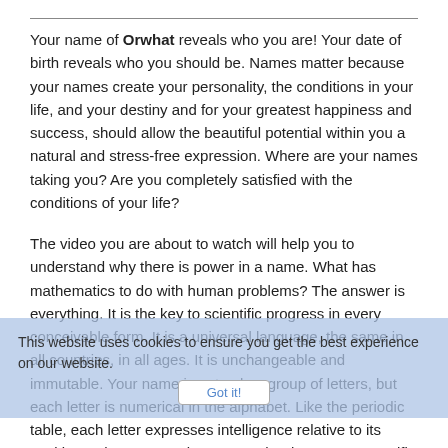Your name of Orwhat reveals who you are! Your date of birth reveals who you should be. Names matter because your names create your personality, the conditions in your life, and your destiny and for your greatest happiness and success, should allow the beautiful potential within you a natural and stress-free expression. Where are your names taking you? Are you completely satisfied with the conditions of your life?
The video you are about to watch will help you to understand why there is power in a name. What has mathematics to do with human problems? The answer is everything. It is the key to scientific progress in every conceivable form. It is a universal language, the same in all countries, in all ages. It is unchangeable and immutable. Your name is not only a group of letters, but each letter is numerical in the alphabet. Like the periodic table, each letter expresses intelligence relative to its position. When you put letters together in a name, specific
This website uses cookies to ensure you get the best experience on our website.
Got it!